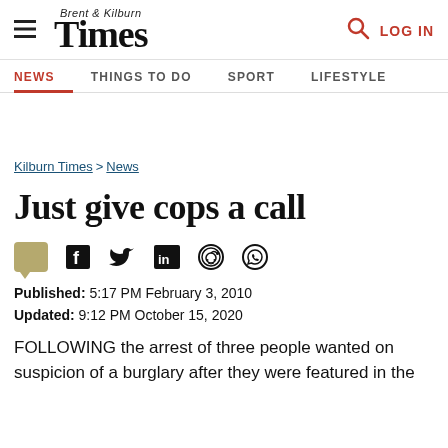Brent & Kilburn Times — NEWS | THINGS TO DO | SPORT | LIFESTYLE
Kilburn Times > News
Just give cops a call
Published: 5:17 PM February 3, 2010
Updated: 9:12 PM October 15, 2020
FOLLOWING the arrest of three people wanted on suspicion of a burglary after they were featured in the